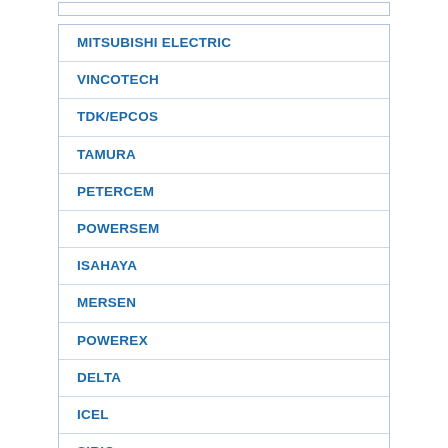MITSUBISHI ELECTRIC
VINCOTECH
TDK/EPCOS
TAMURA
PETERCEM
POWERSEM
ISAHAYA
MERSEN
POWEREX
DELTA
ICEL
SIRIO